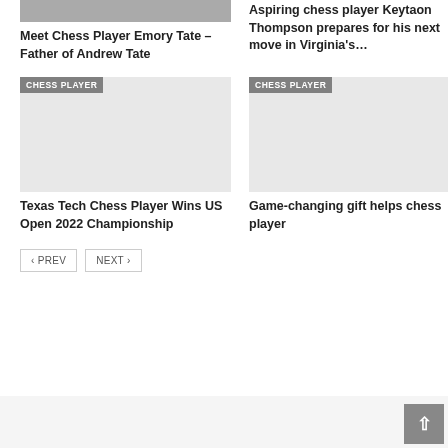[Figure (photo): Partial photo of chess player Emory Tate at top of left column]
Meet Chess Player Emory Tate – Father of Andrew Tate
Aspiring chess player Keytaon Thompson prepares for his next move in Virginia's…
[Figure (photo): Gray placeholder image with CHESS PLAYER badge - left card]
[Figure (photo): Gray placeholder image with CHESS PLAYER badge - right card]
Texas Tech Chess Player Wins US Open 2022 Championship
Game-changing gift helps chess player
PREV  NEXT
[Figure (other): Scroll to top button with upward arrow]